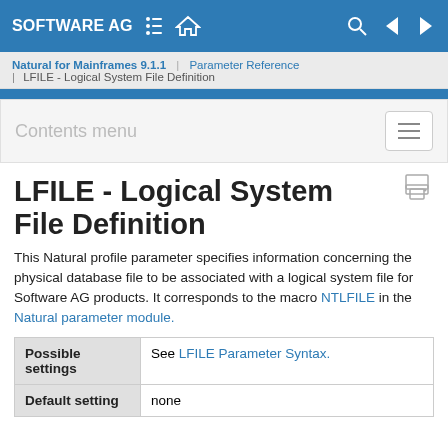SOFTWARE AG | Natural for Mainframes 9.1.1 | Parameter Reference | LFILE - Logical System File Definition
LFILE - Logical System File Definition
This Natural profile parameter specifies information concerning the physical database file to be associated with a logical system file for Software AG products. It corresponds to the macro NTLFILE in the Natural parameter module.
|  |  |
| --- | --- |
| Possible settings | See LFILE Parameter Syntax. |
| Default setting | none |